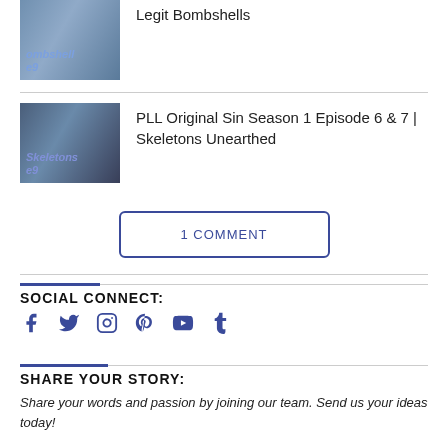[Figure (photo): Thumbnail image with text overlay reading 'bombshell e9' in blue italic text on a blue-toned photo]
Legit Bombshells
[Figure (photo): Thumbnail image with text overlay reading 'Skeletons e9' in blue italic text on a dark blue-toned photo of a person with open mouth]
PLL Original Sin Season 1 Episode 6 & 7 | Skeletons Unearthed
1 COMMENT
SOCIAL CONNECT:
[Figure (infographic): Social media icons: Facebook, Twitter, Instagram, Pinterest, YouTube, Tumblr in dark blue]
SHARE YOUR STORY:
Share your words and passion by joining our team. Send us your ideas today!